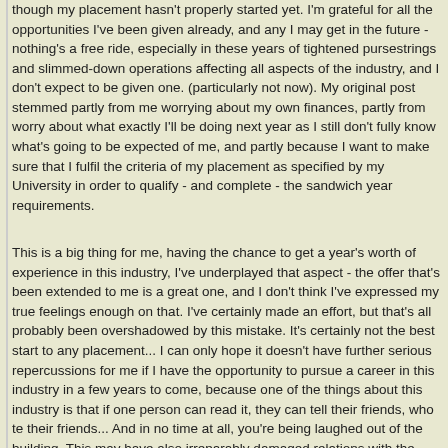though my placement hasn't properly started yet. I'm grateful for all the opportunities I've been given already, and any I may get in the future - nothing's a free ride, especially in these years of tightened pursestrings and slimmed-down operations affecting all aspects of the industry, and I don't expect to be given one. (particularly not now). My original post stemmed partly from me worrying about my own finances, partly from worry about what exactly I'll be doing next year as I still don't fully know what's going to be expected of me, and partly because I want to make sure that I fulfil the criteria of my placement as specified by my University in order to qualify - and complete - the sandwich year requirements.
This is a big thing for me, having the chance to get a year's worth of experience in this industry, I've underplayed that aspect - the offer that's been extended to me is a great one, and I don't think I've expressed my true feelings enough on that. I've certainly made an effort, but that's all probably been overshadowed by this mistake. It's certainly not the best start to any placement... I can only hope it doesn't have further serious repercussions for me if I have the opportunity to pursue a career in this industry in a few years to come, because one of the things about this industry is that if one person can read it, they can tell their friends, who te their friends... And in no time at all, you're being laughed out of the building. This may have also irreparably damaged relations with the company and my University too, something which I'll be even more